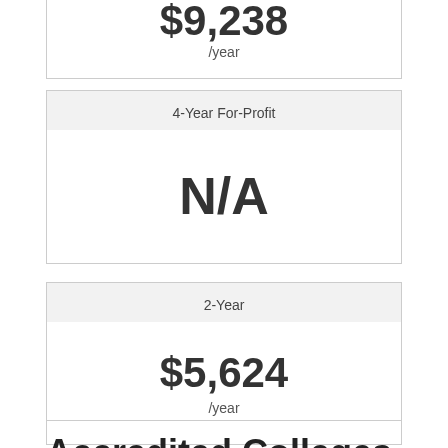$9,238 /year
4-Year For-Profit
N/A
2-Year
$5,624 /year
Accredited Colleges for Criminal Justice